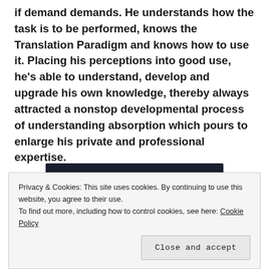if demand demands. He understands how the task is to be performed, knows the Translation Paradigm and knows how to use it. Placing his perceptions into good use, he's able to understand, develop and upgrade his own knowledge, thereby always attracted a nonstop developmental process of understanding absorption which pours to enlarge his private and professional expertise.
[Figure (screenshot): Dark navy background panel with a teal rounded 'Learn More' button on the left side]
Privacy & Cookies: This site uses cookies. By continuing to use this website, you agree to their use. To find out more, including how to control cookies, see here: Cookie Policy
Close and accept